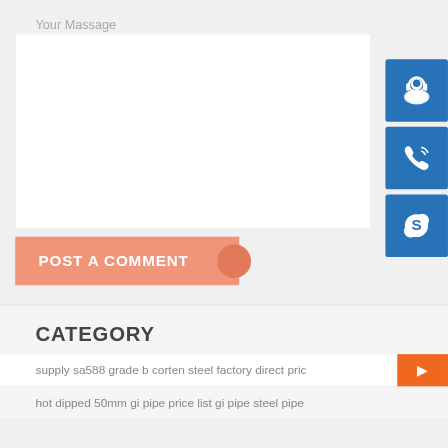Your Massage
[Figure (infographic): POST A COMMENT button in salmon/peach color with white bold text and a circular accent on the right side]
[Figure (infographic): Three blue square icon buttons on the right side: customer support headset icon, phone/call icon, and Skype icon]
CATEGORY
supply sa588 grade b corten steel factory direct pric
hot dipped 50mm gi pipe price list gi pipe steel pipe